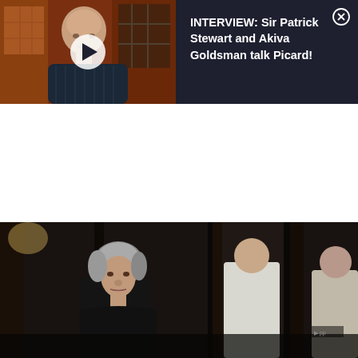[Figure (screenshot): Top banner with dark background. Left side shows a video thumbnail of an older bald man in a dark sweater with a play button overlay. Right side shows white text: 'INTERVIEW: Sir Patrick Stewart and Akiva Goldsman talk Picard!' with a close (X) button in the top right corner.]
INTERVIEW: Sir Patrick Stewart and Akiva Goldsman talk Picard!
[Figure (photo): Dark cinematic still of a woman with short silver hair wearing a black outfit, standing near dark wooden structures or door frames. Another figure in white is partially visible in the background.]